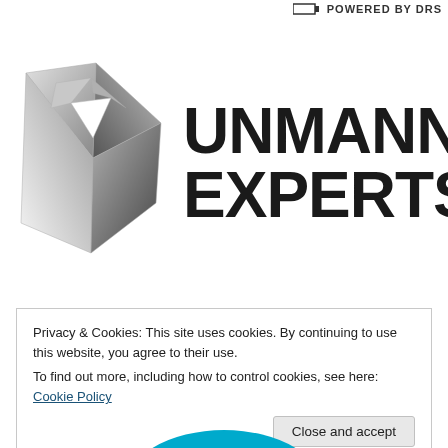POWERED BY DRS
[Figure (logo): Unmanned Experts logo: metallic 3D geometric arrow/triangle shape on left, bold text 'UNMANNED EXPERTS' on right]
Privacy & Cookies: This site uses cookies. By continuing to use this website, you agree to their use.
To find out more, including how to control cookies, see here: Cookie Policy
Close and accept